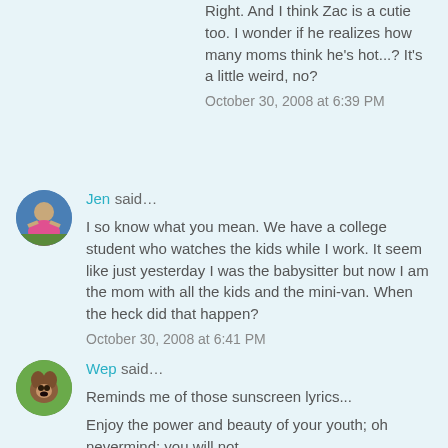Right. And I think Zac is a cutie too. I wonder if he realizes how many moms think he's hot...? It's a little weird, no?
October 30, 2008 at 6:39 PM
[Figure (photo): Avatar of Jen - circular profile photo with blue background showing a person]
Jen said...
I so know what you mean. We have a college student who watches the kids while I work. It seem like just yesterday I was the babysitter but now I am the mom with all the kids and the mini-van. When the heck did that happen?
October 30, 2008 at 6:41 PM
[Figure (photo): Avatar of Wep - circular profile photo with green/brown background showing a dog]
Wep said...
Reminds me of those sunscreen lyrics...
Enjoy the power and beauty of your youth; oh nevermind; you will not understand the power and beauty of your youth until they have faded.